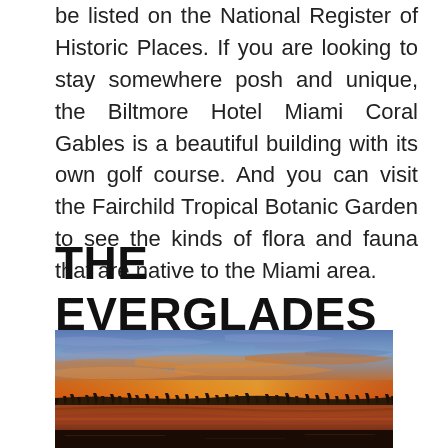be listed on the National Register of Historic Places. If you are looking to stay somewhere posh and unique, the Biltmore Hotel Miami Coral Gables is a beautiful building with its own golf course. And you can visit the Fairchild Tropical Botanic Garden to see the kinds of flora and fauna that are native to the Miami area.
THE EVERGLADES
[Figure (photo): Wide-angle sunset photograph over the Everglades wetlands, with dramatic orange and red sky, wispy clouds, and marsh grasses reflected in still water.]